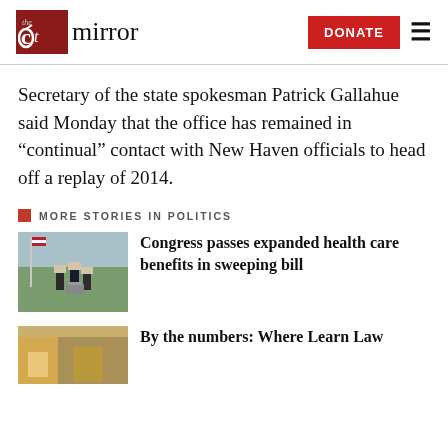the CT mirror — DONATE
Secretary of the state spokesman Patrick Gallahue said Monday that the office has remained in “continual” contact with New Haven officials to head off a replay of 2014.
MORE STORIES IN POLITICS
[Figure (photo): Outdoor press conference scene with several people in suits standing at a podium]
Congress passes expanded health care benefits in sweeping bill
[Figure (photo): Partial thumbnail image at bottom of page]
By the numbers: Where Learn Law...